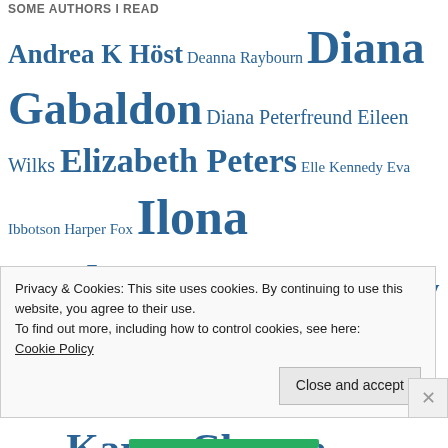SOME AUTHORS I READ
Andrea K Höst Deanna Raybourn Diana Gabaldon Diana Peterfreund Eileen Wilks Elizabeth Peters Elle Kennedy Eva Ibbotson Harper Fox Ilona Andrews Jacqueline Carey Josh Lanyon Julia Quinn Julie Cross Julie Hyzy Juliet Marillier KA Mitchell Karen Chance Kate Elliott Kelly Hunter
Privacy & Cookies: This site uses cookies. By continuing to use this website, you agree to their use.
To find out more, including how to control cookies, see here:
Cookie Policy
Close and accept